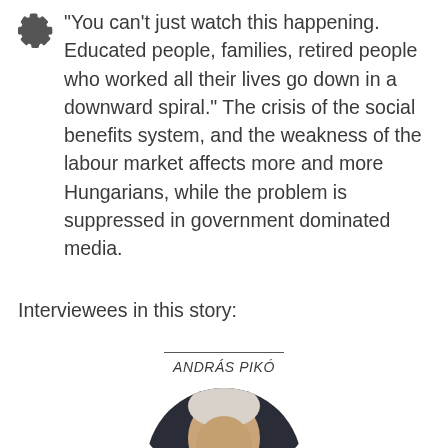“You can’t just watch this happening. Educated people, families, retired people who worked all their lives go down in a downward spiral.” The crisis of the social benefits system, and the weakness of the labour market affects more and more Hungarians, while the problem is suppressed in government dominated media.
Interviewees in this story:
ANDRÁS PIKÓ
[Figure (photo): Circular portrait photo of András Pikó, showing an older man with a white/grey head, partially visible from the shoulders up, cropped in a circle. Bottom portion of circle is cut off by page edge.]